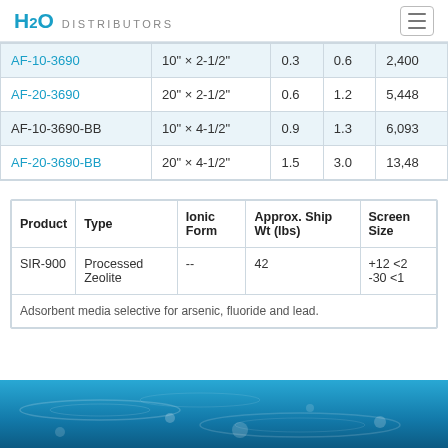H2O DISTRIBUTORS
| Product | Size | Col3 | Col4 | Col5 |
| --- | --- | --- | --- | --- |
| AF-10-3690 | 10" × 2-1/2" | 0.3 | 0.6 | 2,400 |
| AF-20-3690 | 20" × 2-1/2" | 0.6 | 1.2 | 5,448 |
| AF-10-3690-BB | 10" × 4-1/2" | 0.9 | 1.3 | 6,093 |
| AF-20-3690-BB | 20" × 4-1/2" | 1.5 | 3.0 | 13,48 |
| Product | Type | Ionic Form | Approx. Ship Wt (lbs) | Screen Size |
| --- | --- | --- | --- | --- |
| SIR-900 | Processed Zeolite | -- | 42 | +12 <2
-30 <1 |
[Figure (photo): Blue water background footer image]